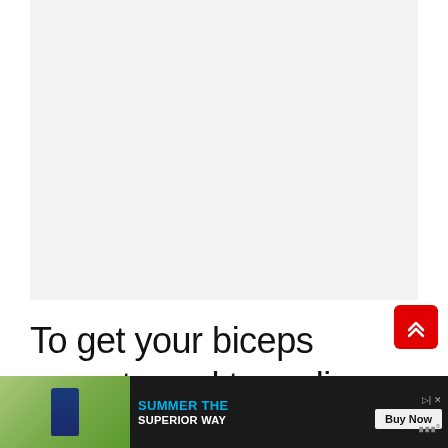[Figure (photo): Large image area at top of page, shown as light gray placeholder]
To get your biceps accustomed to curling heavier weights, it's a good idea to perform slow negatives. Not only is s... of the
[Figure (other): Advertisement banner at bottom: Michelob Ultra beer ad with 'SUMMER THE SUPERIOR WAY' text and Buy Now button]